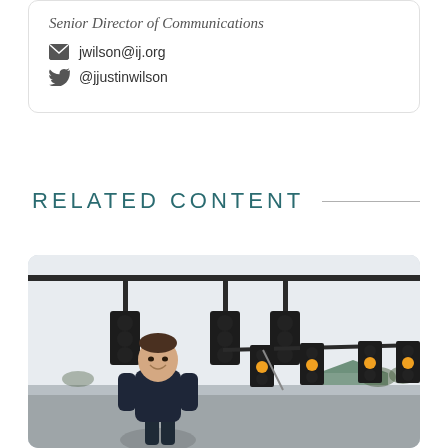Senior Director of Communications
jwilson@ij.org
@jjustinwilson
RELATED CONTENT
[Figure (photo): A man standing outdoors at an intersection with traffic lights visible overhead, smiling, wearing a dark jacket.]